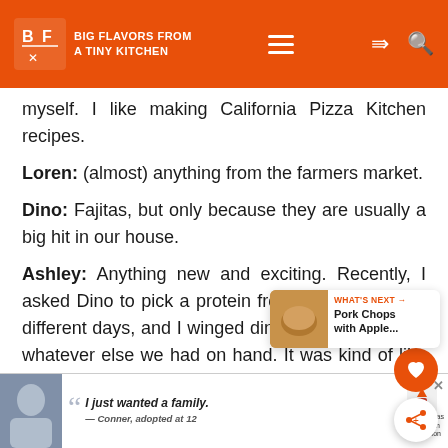BIG FLAVORS FROM A TINY KITCHEN
myself. I like making California Pizza Kitchen recipes.
Loren: (almost) anything from the farmers market.
Dino: Fajitas, but only because they are usually a big hit in our house.
Ashley: Anything new and exciting. Recently, I asked Dino to pick a protein from the freezer a few different days, and I winged dinner based on that and whatever else we had on hand. It was kind of like being on Chopped, but wo... intense. And I came up with some really tasty re...
[Figure (screenshot): What's Next widget showing Pork Chops with Apple...]
[Figure (screenshot): Advertisement banner: I just wanted a family. — Conner, adopted at 12. Dave Thomas Foundation for Adoption.]